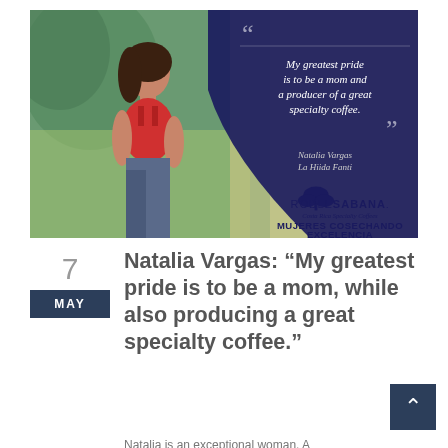[Figure (photo): Promotional image for Roble Sabana Costa Rica Specialty Coffees showing a woman (Natalia Vargas, La Hiida Fanti) standing outdoors at a coffee farm, with a dark blue overlay containing a quote: 'My greatest pride is to be a mom and a producer of a great specialty coffee.' Logo reads ROBLE SABANA Costa Rica Specialty Coffees, MUJERES COSECHANDO EXCELENCIA.]
Natalia Vargas: “My greatest pride is to be a mom, while also producing a great specialty coffee.”
Natalia is an exceptional woman. A